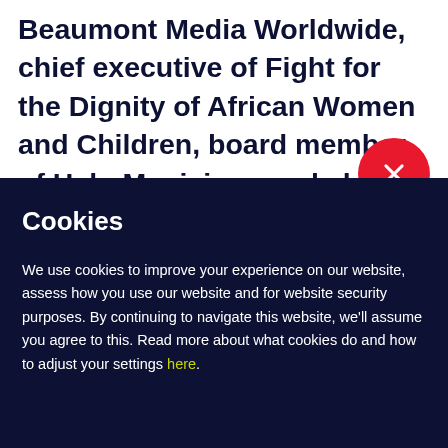Beaumont Media Worldwide, chief executive of Fight for the Dignity of African Women and Children, board member of Help Musicians and chief executive of Black Liv…
[Figure (other): Red circular close/dismiss button with white X icon, overlapping the boundary between the white article text area and the dark navy cookie banner]
Cookies
We use cookies to improve your experience on our website, assess how you use our website and for website security purposes. By continuing to navigate this website, we'll assume you agree to this. Read more about what cookies do and how to adjust your settings here.